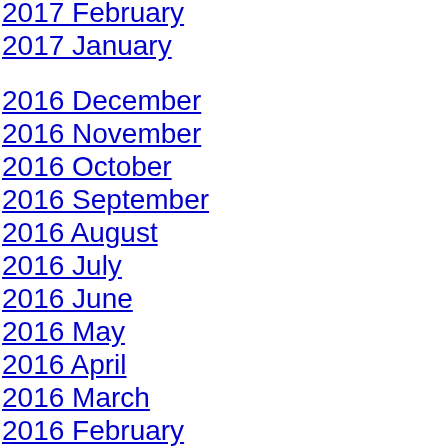2017 February
2017 January
2016 December
2016 November
2016 October
2016 September
2016 August
2016 July
2016 June
2016 May
2016 April
2016 March
2016 February
2016 January
2015 December
2015 November
2015 October
2015 September
2015 August